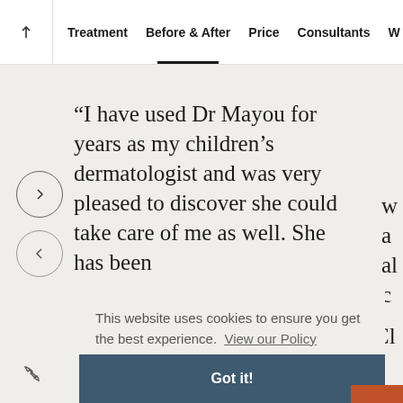Treatment  Before & After  Price  Consultants  Wh
“I have used Dr Mayou for years as my children’s dermatologist and was very pleased to discover she could take care of me as well. She has been
This website uses cookies to ensure you get the best experience.  View our Policy
Got it!